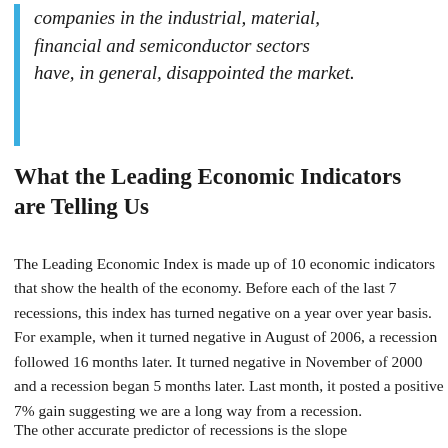companies in the industrial, material, financial and semiconductor sectors have, in general, disappointed the market.
What the Leading Economic Indicators are Telling Us
The Leading Economic Index is made up of 10 economic indicators that show the health of the economy. Before each of the last 7 recessions, this index has turned negative on a year over year basis. For example, when it turned negative in August of 2006, a recession followed 16 months later. It turned negative in November of 2000 and a recession began 5 months later. Last month, it posted a positive 7% gain suggesting we are a long way from a recession.
The other accurate predictor of recessions is the slope